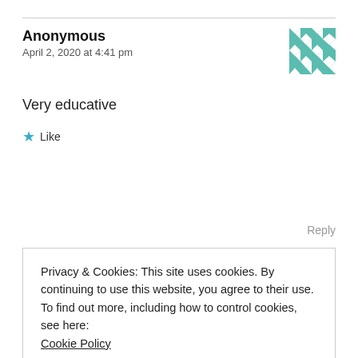Anonymous
April 2, 2020 at 4:41 pm
Very educative
★ Like
Reply
Privacy & Cookies: This site uses cookies. By continuing to use this website, you agree to their use.
To find out more, including how to control cookies, see here: Cookie Policy
Close and accept